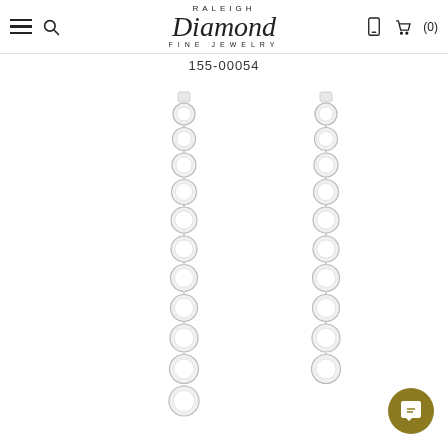Raleigh Diamond Fine Jewelry — navigation header with hamburger menu, search, logo, phone icon, cart (0)
155-00054
[Figure (photo): Product photo of two long diamond drop earrings with bezel-set diamonds graduating in size, shown side by side on a white background. The earrings feature a linear strand of round diamonds in white gold bezel settings.]